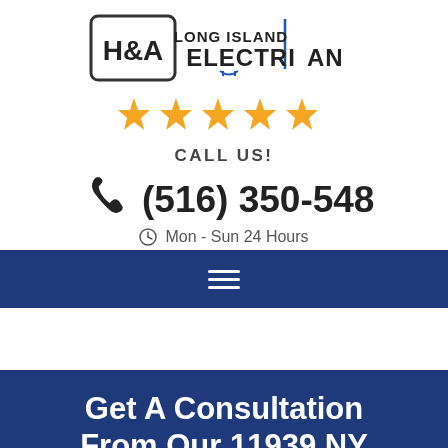[Figure (logo): H&A Long Island Electrician logo with plug icon]
[Figure (infographic): Five golden star rating icons]
CALL US!
(516) 350-5489
Mon - Sun 24 Hours
[Figure (infographic): Navigation hamburger menu icon on dark blue bar]
Get A Consultation From Our 11939 NY Electricians Now!